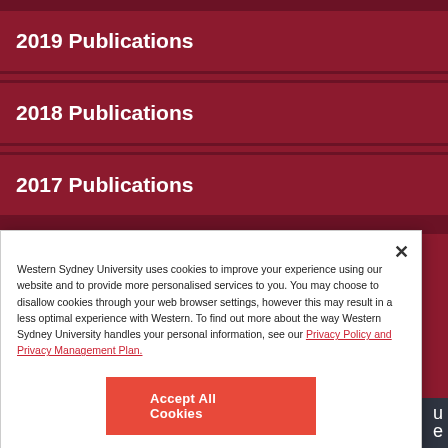2019 Publications
2018 Publications
2017 Publications
Western Sydney University uses cookies to improve your experience using our website and to provide more personalised services to you. You may choose to disallow cookies through your web browser settings, however this may result in a less optimal experience with Western. To find out more about the way Western Sydney University handles your personal information, see our Privacy Policy and Privacy Management Plan.
Accept All Cookies